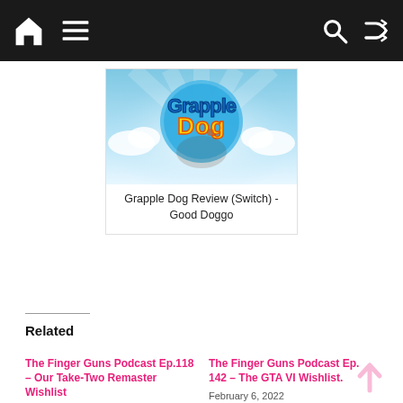Navigation bar with home, menu, search, and shuffle icons
[Figure (screenshot): Grapple Dog game logo on a sky-blue background with clouds and light rays]
Grapple Dog Review (Switch) - Good Doggo
Related
The Finger Guns Podcast Ep.118 – Our Take-Two Remaster Wishlist
August 10, 2021
In "Features"
The Finger Guns Podcast Ep. 142 – The GTA VI Wishlist.
February 6, 2022
In "Features"
The Finger Guns Podcast Ep. 122 – Our PlayStation